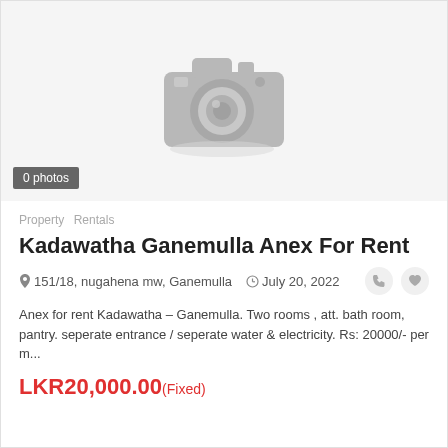[Figure (photo): No photo placeholder with camera icon graphic on grey background]
0 photos
Property   Rentals
Kadawatha Ganemulla Anex For Rent
151/18, nugahena mw, Ganemulla   July 20, 2022
Anex for rent Kadawatha – Ganemulla. Two rooms , att. bath room, pantry. seperate entrance / seperate water & electricity. Rs: 20000/- per m...
LKR20,000.00(Fixed)